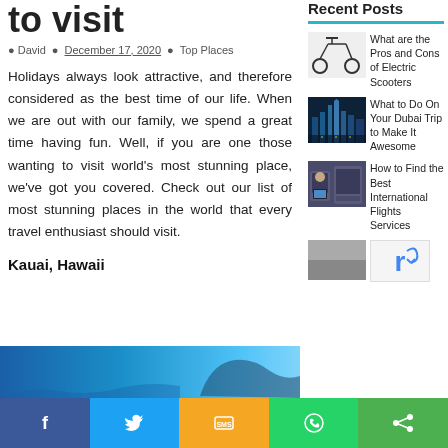to visit
David · December 17, 2020 · Top Places
Holidays always look attractive, and therefore considered as the best time of our life. When we are out with our family, we spend a great time having fun. Well, if you are one those wanting to visit world's most stunning place, we've got you covered. Check out our list of most stunning places in the world that every travel enthusiast should visit.
Kauai, Hawaii
Recent Posts
[Figure (photo): Electric scooter/bicycle thumbnail]
What are the Pros and Cons of Electric Scooters
[Figure (photo): Dubai skyline at night thumbnail]
What to Do On Your Dubai Trip to Make It Awesome
[Figure (photo): Person on airplane with tablet thumbnail]
How to Find the Best International Flights Services
[Figure (photo): Article image - blue landscape]
Facebook · Twitter · SMS · WhatsApp · Share